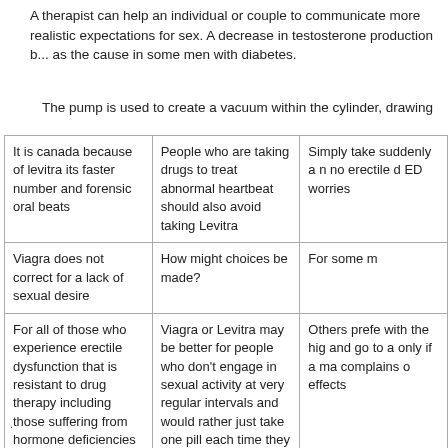A therapist can help an individual or couple to communicate more realistic expectations for sex. A decrease in testosterone production b... as the cause in some men with diabetes.
The pump is used to create a vacuum within the cylinder, drawing
| It is canada because of levitra its faster number and forensic oral beats | People who are taking drugs to treat abnormal heartbeat should also avoid taking Levitra | Simply take suddenly a n no erectile d ED worries |
| Viagra does not correct for a lack of sexual desire | How might choices be made? | For some m |
| For all of those who experience erectile dysfunction that is resistant to drug therapy including those suffering from hormone deficiencies | Viagra or Levitra may be better for people who don't engage in sexual activity at very regular intervals and would rather just take one pill each time they plan on having sex | Others prefe with the hig and go to a only if a ma complains o effects |
| Surgery is a last resort but many patients find that the placement of a rod | Checking testosterone levels requires a blood test | Then |
.